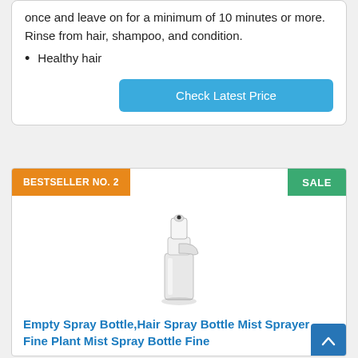once and leave on for a minimum of 10 minutes or more. Rinse from hair, shampoo, and condition.
Healthy hair
Check Latest Price
BESTSELLER NO. 2
SALE
[Figure (photo): White continuous mist spray bottle with clear lower body and white pump top, shown on white background with subtle shadow.]
Empty Spray Bottle,Hair Spray Bottle Mist Sprayer Fine Plant Mist Spray Bottle Fine